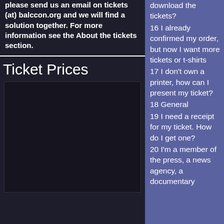please send us an email on tickets (at) balccon.org and we will find a solution together. For more information see the About the tickets section.
Ticket Prices
[Figure (other): Dark background box area, appears to be an image placeholder or content area with dark navy/black background]
download the tickets?
16 I already confirmed my order, but now I want more tickets or t-shirts
17 I don't own a printer, how can I present my ticket?
18 General
19 I need a receipt for my ticket. How do I get one?
20 I'm a member of the press, a news agency, a documentary